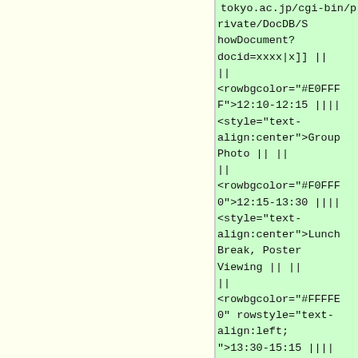tokyo.ac.jp/cgi-bin/private/DocDB/ShowDocument?docid=xxxx|x]] ||
||
<rowbgcolor="#E0FFFF">12:10-12:15 ||||
<style="text-align:center">Group Photo || ||
||
<rowbgcolor="#F0FFF0">12:15-13:30 ||||
<style="text-align:center">Lunch Break, Poster Viewing || ||
||
<rowbgcolor="#FFFFE0" rowstyle="text-align:left;">13:30-15:15 ||||
<style="text-align:left;">Session07: Science Talks (Chair: Yousuke